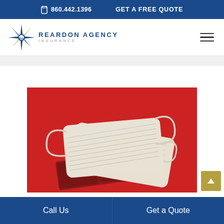860.442.1396   GET A FREE QUOTE
[Figure (logo): Reardon Agency Insurance logo with compass star and text]
[Figure (photo): Two white surgical/face masks and two red passports on a red background, representing travel insurance during COVID-19]
Call Us   Get a Quote